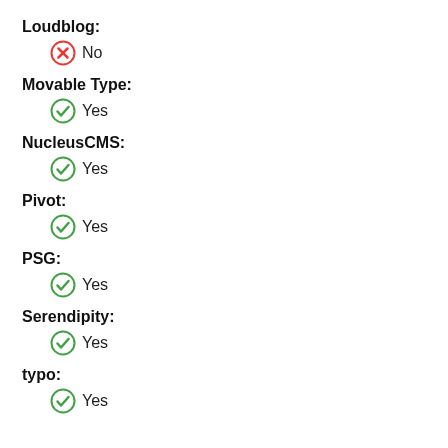Loudblog:
No
Movable Type:
Yes
NucleusCMS:
Yes
Pivot:
Yes
PSG:
Yes
Serendipity:
Yes
typo:
Yes